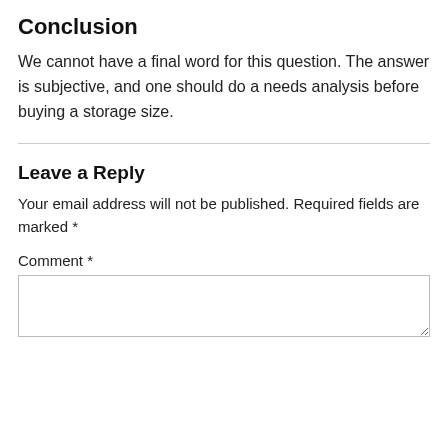Conclusion
We cannot have a final word for this question. The answer is subjective, and one should do a needs analysis before buying a storage size.
Leave a Reply
Your email address will not be published. Required fields are marked *
Comment *